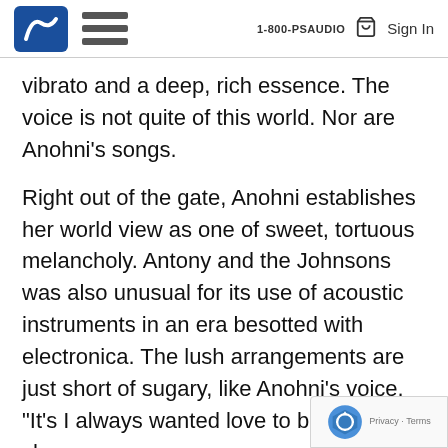1-800-PSAUDIO  Sign In
vibrato and a deep, rich essence. The voice is not quite of this world. Nor are Anohni’s songs.
Right out of the gate, Anohni establishes her world view as one of sweet, tortuous melancholy. Antony and the Johnsons was also unusual for its use of acoustic instruments in an era besotted with electronica. The lush arrangements are just short of sugary, like Anohni’s voice. “It’s I always wanted love to be…hurtful,” sh